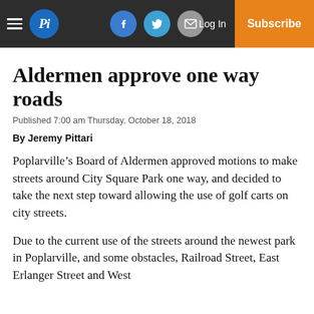Pi | Log In | Subscribe
Aldermen approve one way roads
Published 7:00 am Thursday, October 18, 2018
By Jeremy Pittari
Poplarville’s Board of Aldermen approved motions to make streets around City Square Park one way, and decided to take the next step toward allowing the use of golf carts on city streets.
Due to the current use of the streets around the newest park in Poplarville, and some obstacles, Railroad Street, East Erlanger Street and West